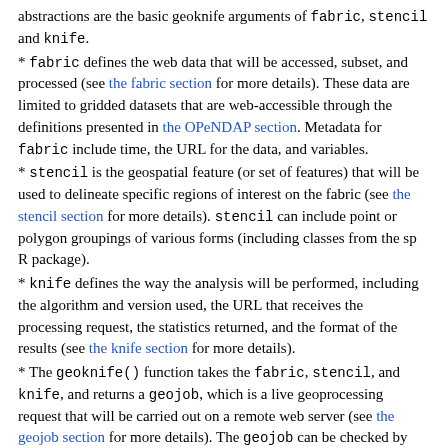abstractions are the basic geoknife arguments of fabric, stencil and knife.
* fabric defines the web data that will be accessed, subset, and processed (see the fabric section for more details). These data are limited to gridded datasets that are web-accessible through the definitions presented in the OPeNDAP section. Metadata for fabric include time, the URL for the data, and variables.
* stencil is the geospatial feature (or set of features) that will be used to delineate specific regions of interest on the fabric (see the stencil section for more details). stencil can include point or polygon groupings of various forms (including classes from the sp R package).
* knife defines the way the analysis will be performed, including the algorithm and version used, the URL that receives the processing request, the statistics returned, and the format of the results (see the knife section for more details).
* The geoknife() function takes the fabric, stencil, and knife, and returns a geojob, which is a live geoprocessing request that will be carried out on a remote web server (see the geojob section for more details). The geojob can be checked by users, and results can be parsed and loaded into the R environment for analyses.